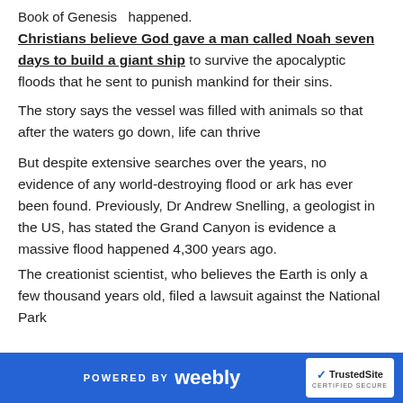Book of Genesis happened.
Christians believe God gave a man called Noah seven days to build a giant ship to survive the apocalyptic floods that he sent to punish mankind for their sins. The story says the vessel was filled with animals so that after the waters go down, life can thrive
But despite extensive searches over the years, no evidence of any world-destroying flood or ark has ever been found. Previously, Dr Andrew Snelling, a geologist in the US, has stated the Grand Canyon is evidence a massive flood happened 4,300 years ago. The creationist scientist, who believes the Earth is only a few thousand years old, filed a lawsuit against the National Park
POWERED BY weebly | TrustedSite CERTIFIED SECURE